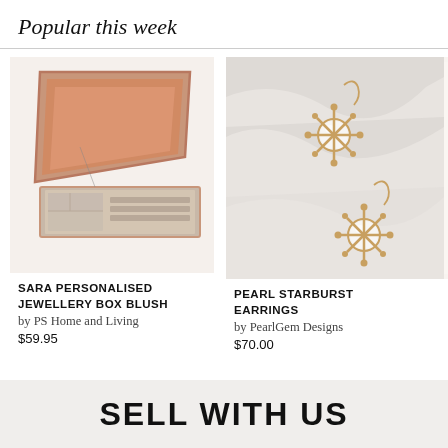Popular this week
[Figure (photo): Sara Personalised Jewellery Box Blush - an open pink/rose gold jewelry box with beige interior compartments]
SARA PERSONALISED JEWELLERY BOX BLUSH
by PS Home and Living
$59.95
[Figure (photo): Pearl Starburst Earrings - two gold starburst-style drop earrings with white pearl centers on a marble surface]
PEARL STARBURST EARRINGS
by PearlGem Designs
$70.00
[Figure (photo): Partially visible product - appears to be a red illustrated item, partially cropped]
THIS DELIC
by Th
$39.90
SELL WITH US